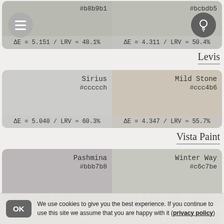[Figure (infographic): Two color swatches side by side: left swatch #b8b9b1 with ΔE = 5.151 / LRV ≈ 48.1%, right swatch #bcbdb5 with ΔE = 4.311 / LRV ≈ 50.4%. Menu hamburger icon on left, light bulb icon on right.]
Levis
[Figure (infographic): Two color swatches side by side: left swatch Sirius #ccccb with ΔE = 5.040 / LRV ≈ 60.3%, right swatch Mild Stone #ccc4b6 with ΔE = 4.347 / LRV ≈ 55.7%.]
Vista Paint
[Figure (infographic): Two color swatches side by side: left swatch Pashmina #bbb7b8 with ΔE = 4.829 / LRV ≈ 47.9%, right swatch Winter Way #c6c7be with ΔE = 4.359 / LRV ≈ 56.6%.]
Changan
[Figure (infographic): Single wide color swatch: Pure White / N05 #cfccc7 with ΔE = 4.368 / LRV ≈ 60.6%.]
Cloverdale Paint
We use cookies to give you the best experience. If you continue to use this site we assume that you are happy with it (privacy policy)